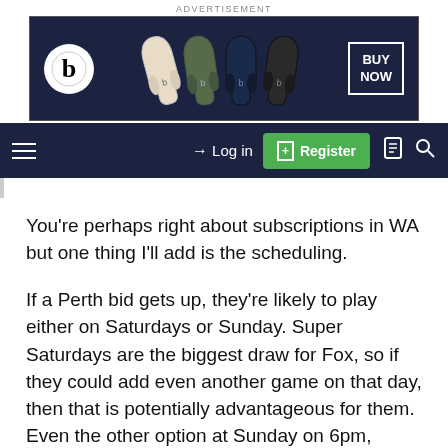[Figure (screenshot): Advertisement banner for Beats headphones showing multiple colored over-ear headphones and a BUY NOW button on dark navy background]
[Figure (screenshot): Navigation bar with hamburger menu, Log in link, green Register button, document icon, and search icon on dark navy background]
You’re perhaps right about subscriptions in WA but one thing I’ll add is the scheduling.
If a Perth bid gets up, they’re likely to play either on Saturdays or Sunday. Super Saturdays are the biggest draw for Fox, so if they could add even another game on that day, then that is potentially advantageous for them. Even the other option at Sunday on 6pm, solves a problem for them.
In any case, adding both over a certain timeframe